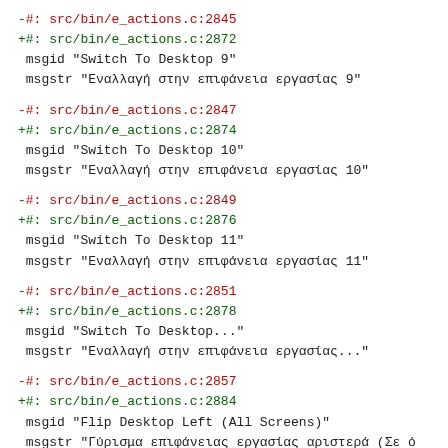-#: src/bin/e_actions.c:2845
+#: src/bin/e_actions.c:2872
 msgid "Switch To Desktop 9"
 msgstr "Εναλλαγή στην επιφάνεια εργασίας 9"
-#: src/bin/e_actions.c:2847
+#: src/bin/e_actions.c:2874
 msgid "Switch To Desktop 10"
 msgstr "Εναλλαγή στην επιφάνεια εργασίας 10"
-#: src/bin/e_actions.c:2849
+#: src/bin/e_actions.c:2876
 msgid "Switch To Desktop 11"
 msgstr "Εναλλαγή στην επιφάνεια εργασίας 11"
-#: src/bin/e_actions.c:2851
+#: src/bin/e_actions.c:2878
 msgid "Switch To Desktop..."
 msgstr "Εναλλαγή στην επιφάνεια εργασίας..."
-#: src/bin/e_actions.c:2857
+#: src/bin/e_actions.c:2884
 msgid "Flip Desktop Left (All Screens)"
 msgstr "Γύρισμα επιφάνειας εργασίας αριστερά (Σε ό
-#: src/bin/e_actions.c:2859
+#: src/bin/e_actions.c:2886
 msgid "Flip Desktop Right (All Screens)"
 msgstr "Γύρισμα επιφάνειας εργασίας δεξιά(Σε όλες